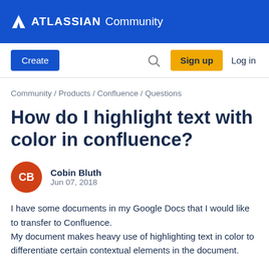ATLASSIAN Community
[Figure (screenshot): Navigation bar with Create button, search icon, Sign up button, and Log in link]
Community / Products / Confluence / Questions
How do I highlight text with color in confluence?
Cobin Bluth
Jun 07, 2018
I have some documents in my Google Docs that I would like to transfer to Confluence.
My document makes heavy use of highlighting text in color to differentiate certain contextual elements in the document.